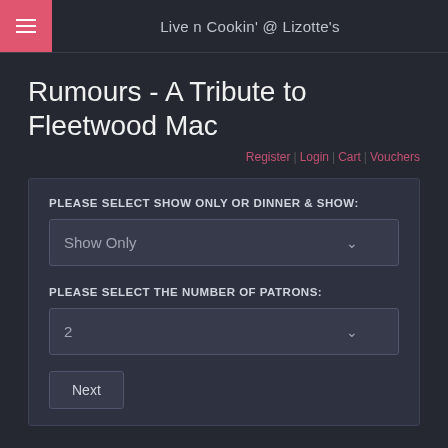Live n Cookin' @ Lizotte's
Rumours - A Tribute to Fleetwood Mac
Register | Login | Cart | Vouchers
PLEASE SELECT SHOW ONLY OR DINNER & SHOW:
Show Only
PLEASE SELECT THE NUMBER OF PATRONS:
2
Next